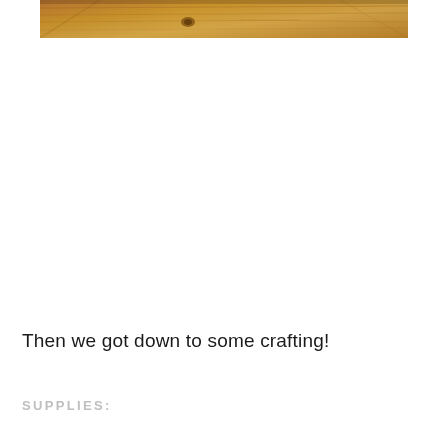[Figure (photo): Close-up photo of a wooden surface with visible wood grain and a knot, warm brown tones, partially cropped at top of page]
Then we got down to some crafting!
SUPPLIES: